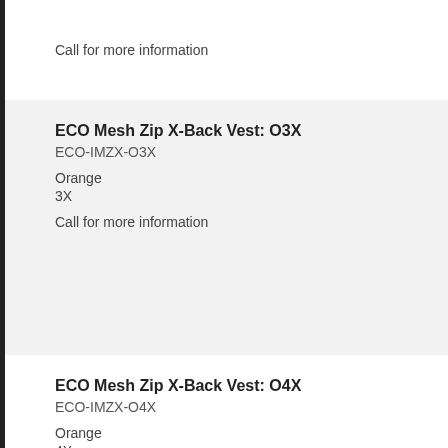Call for more information
ECO Mesh Zip X-Back Vest: O3X
ECO-IMZX-O3X
Orange
3X
Call for more information
ECO Mesh Zip X-Back Vest: O4X
ECO-IMZX-O4X
Orange
4X
Call for more information
ECO Mesh Zip X-Back Vest: O5X